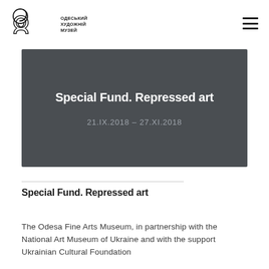ОДЕСЬКИЙ ХУДОЖНІЙ МУЗЕЙ
[Figure (infographic): Exhibition hero banner with dark grey background showing title 'Special Fund. Repressed art' and date '21.IX.2018 – 27.XI.2018']
Special Fund. Repressed art
The Odesa Fine Arts Museum, in partnership with the National Art Museum of Ukraine and with the support Ukrainian Cultural Foundation